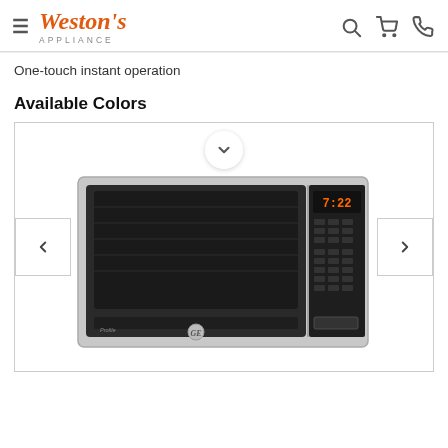Weston's Appliance
One-touch instant operation
Available Colors
[Figure (photo): GE Profile stainless steel countertop microwave oven with digital display showing 7:22, control panel on right side, and GE logo on front door. Navigation arrows on left and right sides, chevron/down button at top center.]